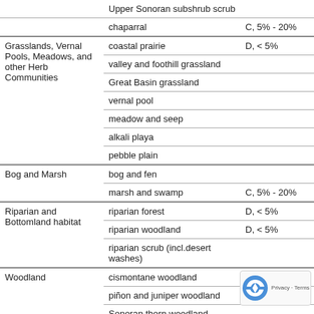|  | Habitat/Community | Rarity/Sensitivity |
| --- | --- | --- |
|  | Upper Sonoran subshrub scrub |  |
|  | chaparral | C, 5% - 20% |
| Grasslands, Vernal Pools, Meadows, and other Herb Communities | coastal prairie | D, < 5% |
|  | valley and foothill grassland |  |
|  | Great Basin grassland |  |
|  | vernal pool |  |
|  | meadow and seep |  |
|  | alkali playa |  |
|  | pebble plain |  |
| Bog and Marsh | bog and fen |  |
|  | marsh and swamp | C, 5% - 20% |
| Riparian and Bottomland habitat | riparian forest | D, < 5% |
|  | riparian woodland | D, < 5% |
|  | riparian scrub (incl.desert washes) |  |
| Woodland | cismontane woodland |  |
|  | piñon and juniper woodland |  |
|  | Sonoran thorn woodland |  |
| Forest | broadleaved upland forest | C, 5% - 2… |